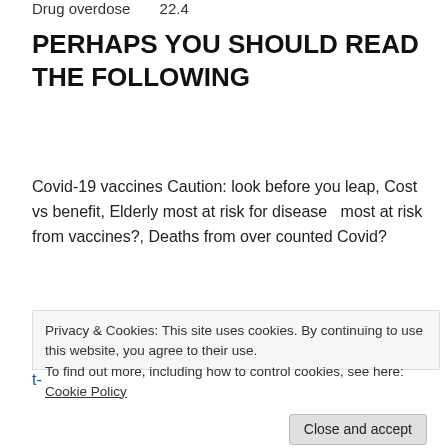Drug overdose      22.4
PERHAPS YOU SHOULD READ THE FOLLOWING
Covid-19 vaccines Caution: look before you leap, Cost vs benefit, Elderly most at risk for disease  most at risk from vaccines?, Deaths from over counted Covid?
https://citizenwells.com/2021/03/06/covid-19-vaccines-caution-look-before-you-leap-cost-vs-benefit-elderly-most-
Privacy & Cookies: This site uses cookies. By continuing to use this website, you agree to their use.
To find out more, including how to control cookies, see here: Cookie Policy
Close and accept